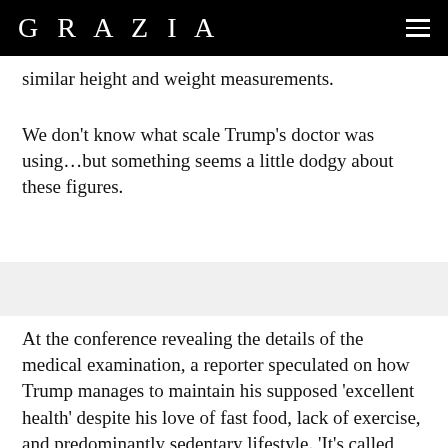GRAZIA
similar height and weight measurements.
We don't know what scale Trump's doctor was using…but something seems a little dodgy about these figures.
At the conference revealing the details of the medical examination, a reporter speculated on how Trump manages to maintain his supposed 'excellent health' despite his love of fast food, lack of exercise, and predominantly sedentary lifestyle. 'It's called genetics,' the physician